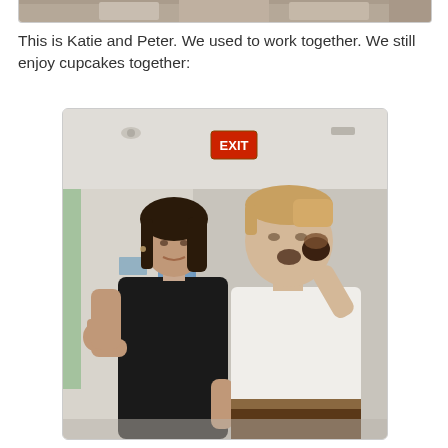[Figure (photo): Partial top of a photo, cropped — appears to show people, only the very bottom strip is visible]
This is Katie and Peter. We used to work together. We still enjoy cupcakes together:
[Figure (photo): Two people standing in an office break room. A woman with dark hair wearing a black dress gives a thumbs up. A tall man in a white polo shirt eats a cupcake. An EXIT sign is visible in the background.]